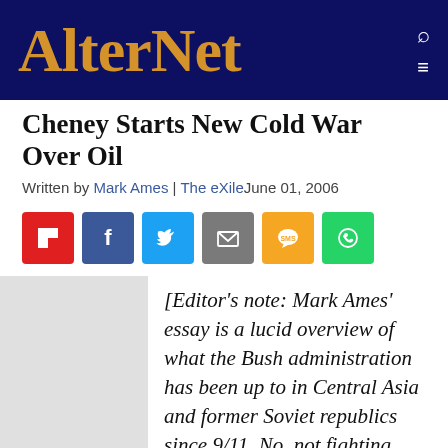AlterNet
Cheney Starts New Cold War Over Oil
Written by Mark Ames | The eXile June 01, 2006
[Figure (infographic): Social sharing icons: Flipboard, Facebook, Twitter, Email, SMS, WhatsApp]
[Editor's note: Mark Ames' essay is a lucid overview of what the Bush administration has been up to in Central Asia and former Soviet republics since 9/11. No, not fighting "terror" -- they've been working on a long-term